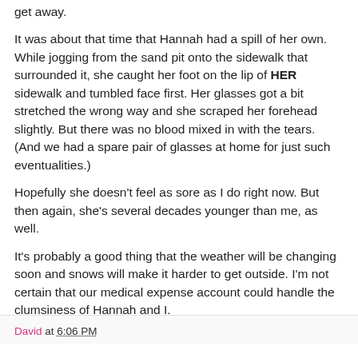get away.
It was about that time that Hannah had a spill of her own. While jogging from the sand pit onto the sidewalk that surrounded it, she caught her foot on the lip of HER sidewalk and tumbled face first. Her glasses got a bit stretched the wrong way and she scraped her forehead slightly. But there was no blood mixed in with the tears. (And we had a spare pair of glasses at home for just such eventualities.)
Hopefully she doesn't feel as sore as I do right now. But then again, she's several decades younger than me, as well.
It's probably a good thing that the weather will be changing soon and snows will make it harder to get outside. I'm not certain that our medical expense account could handle the clumsiness of Hannah and I.
David at 6:06 PM